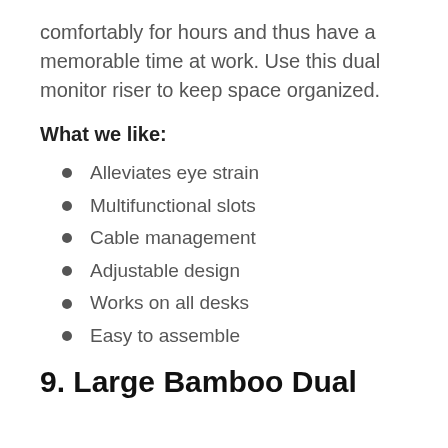comfortably for hours and thus have a memorable time at work. Use this dual monitor riser to keep space organized.
What we like:
Alleviates eye strain
Multifunctional slots
Cable management
Adjustable design
Works on all desks
Easy to assemble
9. Large Bamboo Dual